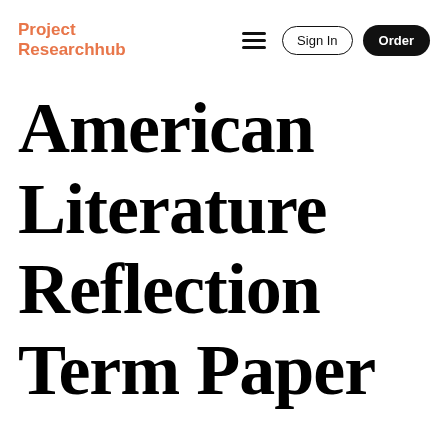Project Researchhub | Sign In | Order
American Literature Reflection Term Paper